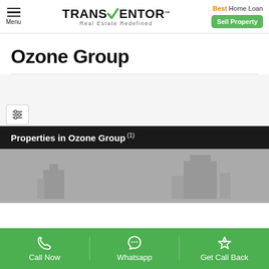[Figure (logo): Transventor logo with green checkmark and tagline 'Real Estate Redefined']
Best Home Loan
Sell Property
Ozone Group
Properties in Ozone Group (1)
[Figure (photo): Grey placeholder image of a property]
Call Now
Whatsapp
Get Call Back